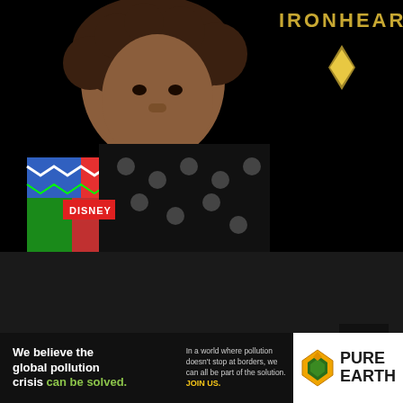[Figure (photo): Promotional image for Disney's Ironheart showing a young woman with curly hair wearing a colorful patterned jacket and a black polka dot shirt. The text 'IRONHEART' appears in large gold letters on a dark background. A red 'DISNEY' badge label is overlaid on the lower left of the image.]
[Figure (infographic): Advertisement banner for Pure Earth organization. Left dark section reads 'We believe the global pollution crisis can be solved.' with 'can be solved.' in green. Middle section reads 'In a world where pollution doesn't stop at borders, we can all be part of the solution.' with 'JOIN US.' in yellow. Right white section shows the Pure Earth logo (diamond hazard shape with leaf) and the text 'PURE EARTH' in bold black.]